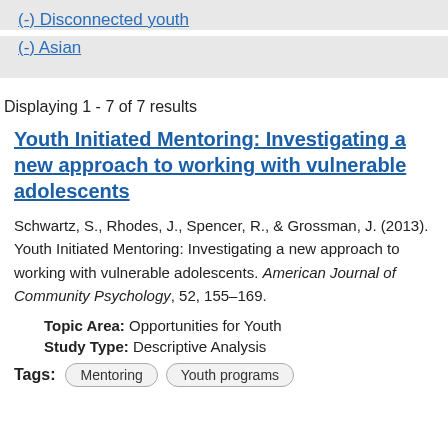(-) Disconnected youth
(-) Asian
Displaying 1 - 7 of 7 results
Youth Initiated Mentoring: Investigating a new approach to working with vulnerable adolescents
Schwartz, S., Rhodes, J., Spencer, R., & Grossman, J. (2013). Youth Initiated Mentoring: Investigating a new approach to working with vulnerable adolescents. American Journal of Community Psychology, 52, 155–169.
Topic Area: Opportunities for Youth
Study Type: Descriptive Analysis
Tags: Mentoring  Youth programs